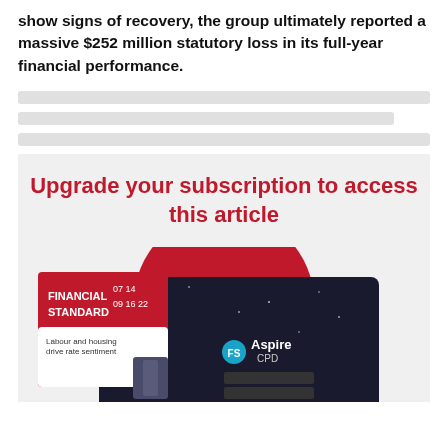show signs of recovery, the group ultimately reported a massive $252 million statutory loss in its full-year financial performance.
[Figure (other): Subscription paywall box with heading 'Upgrade your subscription to access this article' and a promotional image showing Financial Standard magazine, FS Aspire CPD login screen, on a dark background with a red circle]